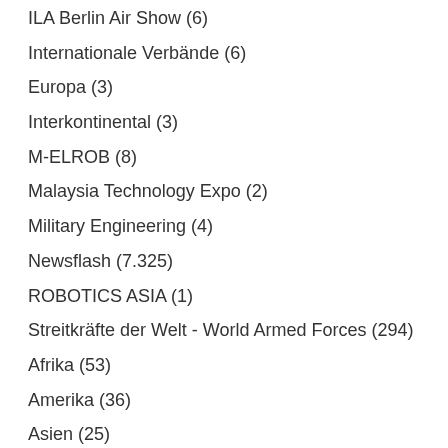ILA Berlin Air Show (6)
Internationale Verbände (6)
Europa (3)
Interkontinental (3)
M-ELROB (8)
Malaysia Technology Expo (2)
Military Engineering (4)
Newsflash (7.325)
ROBOTICS ASIA (1)
Streitkräfte der Welt - World Armed Forces (294)
Afrika (53)
Amerika (36)
Asien (25)